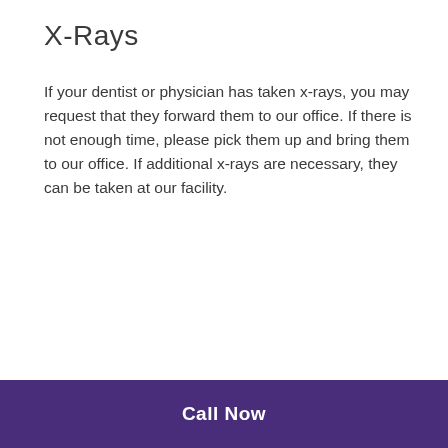X-Rays
If your dentist or physician has taken x-rays, you may request that they forward them to our office. If there is not enough time, please pick them up and bring them to our office. If additional x-rays are necessary, they can be taken at our facility.
Call Now